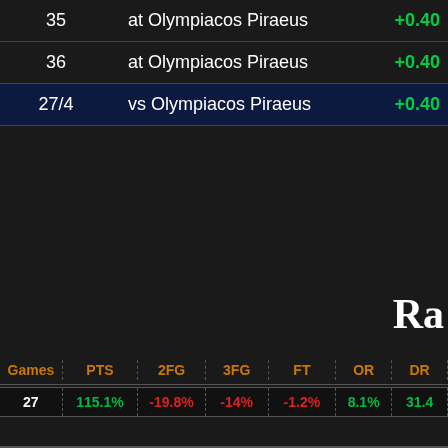| # | Match | Score |
| --- | --- | --- |
| 35 | at Olympiacos Piraeus | +0.40 |
| 36 | at Olympiacos Piraeus | +0.40 |
| 27/4 | vs Olympiacos Piraeus | +0.40 |
Ra
| Games | PTS | 2FG | 3FG | FT | OR | DR |
| --- | --- | --- | --- | --- | --- | --- |
| 27 | 115.1% | -19.8% | -14% | -1.2% | 8.1% | 31.4 |